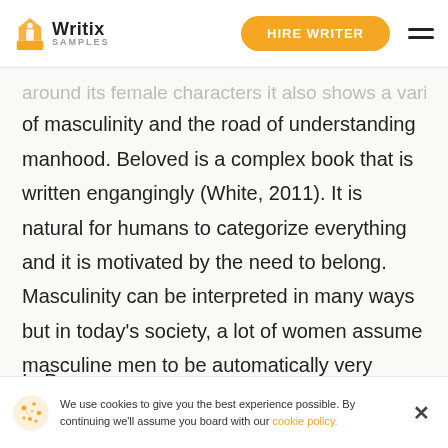Writix SAMPLES | HIRE WRITER
around its female characters it also shows a variety of masculinity and the road of understanding manhood. Beloved is a complex book that is written engangingly (White, 2011). It is natural for humans to categorize everything and it is motivated by the need to belong. Masculinity can be interpreted in many ways but in today’s society, a lot of women assume masculine men to be automatically very strong, muscular and brave thus often numerous males tend to not show their more emotional and sensitive side because they feel they will be seen as weak.
In B
We use cookies to give you the best experience possible. By continuing we’ll assume you board with our cookie policy.